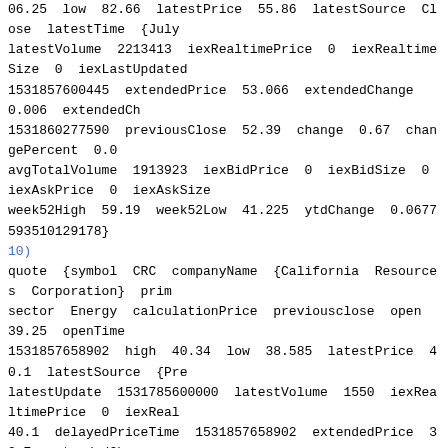06.25 low 82.66 latestPrice 55.86 latestSource Close latestTime {July latestVolume 2213413 iexRealtimePrice 0 iexRealtimeSize 0 iexLastUpdated 1531857600445 extendedPrice 53.066 extendedChange 0.006 extendedCh 1531860277590 previousClose 52.39 change 0.67 changePercent 0.0 avgTotalVolume 1913923 iexBidPrice 0 iexBidSize 0 iexAskPrice 0 iexAskSize week52High 59.19 week52Low 41.225 ytdChange 0.0677593510129178}
10)
quote {symbol CRC companyName {California Resources Corporation} prim sector Energy calculationPrice previousclose open 39.25 openTime 1531857658902 high 40.34 low 38.585 latestPrice 40.1 latestSource {Pre latestUpdate 1531785600000 latestVolume 1550 iexRealtimePrice 0 iexReal 40.1 delayedPriceTime 1531857658902 extendedPrice 39.7 extendedChang extendedPriceTime 1531918920291 previousClose 40.1 change 0 changeP avgTotalVolume 2052541 iexBidPrice 0 iexBidSize 0 iexAskPrice 0 iexAskSize week52High 48.85 week52Low 6.47 ytdChange 1.0060030015007506}
11)
quote {symbol HAL companyName {Halliburton Company} primaryExchange { calculationPrice close open 44.75 openTime 1531834200405 close 45.06 close latestPrice 45.06 latestSource Close latestTime {July 17, 2018} latestUpdat iexRealtimePrice null iexRealtimeSize null iexLastUpdated null delayedPric